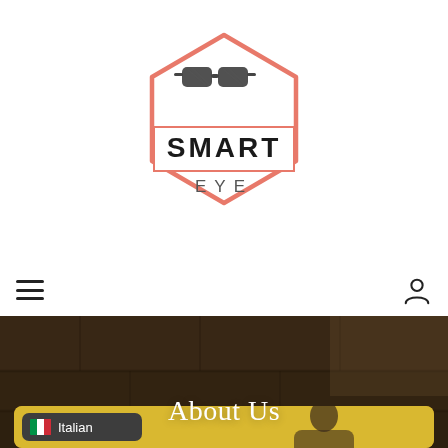[Figure (logo): Smart Eye logo — hexagon outline in coral/salmon color with sunglasses icon on top, bold text SMART in a banner shape, and EYE below in spaced letters]
[Figure (infographic): Navigation bar with hamburger menu icon on left and user/account icon on right]
[Figure (photo): Hero banner image: dark-toned stone/rock wall background with overlay, centered white text reading 'About Us']
[Figure (photo): Bottom section: yellow/golden background card with a person wearing sunglasses and a dark rounded rectangle pill showing Italian flag emoji and text 'Italian']